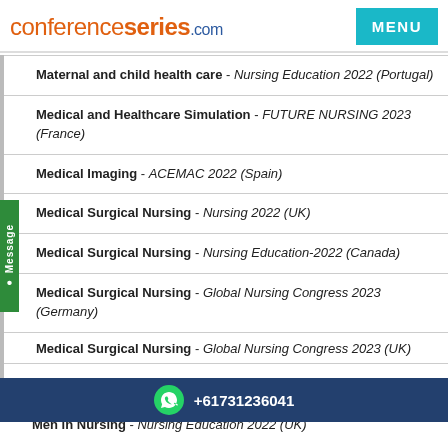conferenceseries.com
Maternal and child health care - Nursing Education 2022 (Portugal)
Medical and Healthcare Simulation - FUTURE NURSING 2023 (France)
Medical Imaging - ACEMAC 2022 (Spain)
Medical Surgical Nursing - Nursing 2022 (UK)
Medical Surgical Nursing - Nursing Education-2022 (Canada)
Medical Surgical Nursing - Global Nursing Congress 2023 (Germany)
Medical Surgical Nursing - [partially visible]
Men in Nursing - Nursing Education 2022 (UK)